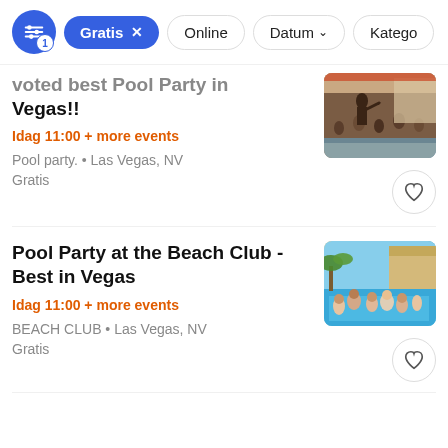Gratis x | Online | Datum | Katego
voted best Pool Party in Vegas!!
Idag 11:00 + more events
Pool party. • Las Vegas, NV
Gratis
[Figure (photo): Performer on stage with large crowd at a pool party event in Las Vegas]
Pool Party at the Beach Club - Best in Vegas
Idag 11:00 + more events
BEACH CLUB • Las Vegas, NV
Gratis
[Figure (photo): Large crowd of people in a pool at the Beach Club in Las Vegas]